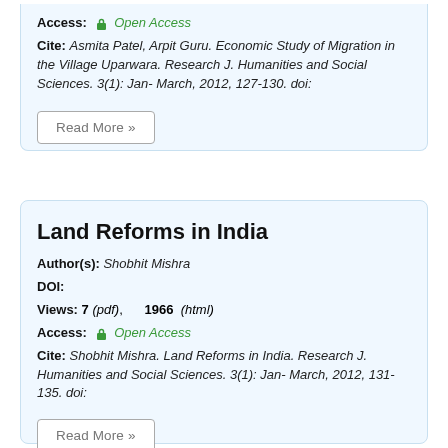Access: Open Access
Cite: Asmita Patel, Arpit Guru. Economic Study of Migration in the Village Uparwara. Research J. Humanities and Social Sciences. 3(1): Jan- March, 2012, 127-130. doi:
Read More »
Land Reforms in India
Author(s): Shobhit Mishra
DOI:
Views: 7 (pdf), 1966 (html)
Access: Open Access
Cite: Shobhit Mishra. Land Reforms in India. Research J. Humanities and Social Sciences. 3(1): Jan- March, 2012, 131-135. doi:
Read More »